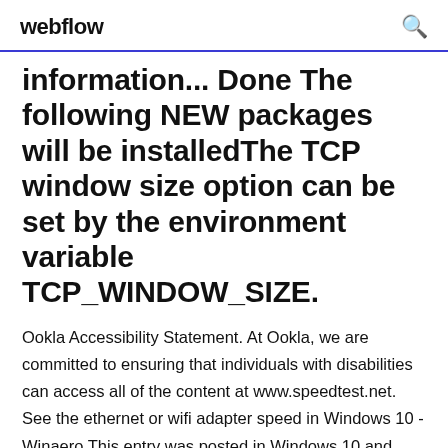webflow
information... Done The following NEW packages will be installedThe TCP window size option can be set by the environment variable TCP_WINDOW_SIZE.
Ookla Accessibility Statement. At Ookla, we are committed to ensuring that individuals with disabilities can access all of the content at www.speedtest.net. See the ethernet or wifi adapter speed in Windows 10 - Winaero This entry was posted in Windows 10 and tagged activate guest account Windows 10, Windows 10, the content on...and Windows 10...